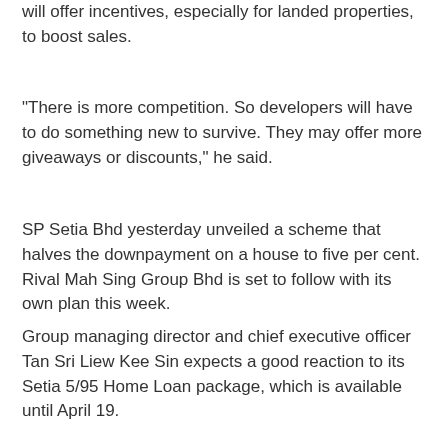will offer incentives, especially for landed properties, to boost sales.
"There is more competition. So developers will have to do something new to survive. They may offer more giveaways or discounts," he said.
SP Setia Bhd yesterday unveiled a scheme that halves the downpayment on a house to five per cent. Rival Mah Sing Group Bhd is set to follow with its own plan this week.
Group managing director and chief executive officer Tan Sri Liew Kee Sin expects a good reaction to its Setia 5/95 Home Loan package, which is available until April 19.
[Figure (photo): Group of business people standing around a large architectural scale model of a property development, at what appears to be a property exhibition or launch event. Several men in suits are examining the model, with one person pointing. Red decorations visible in background.]